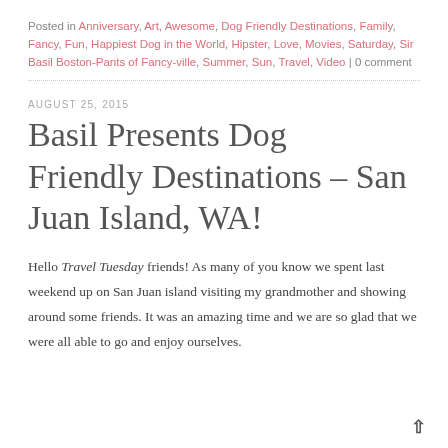Posted in Anniversary, Art, Awesome, Dog Friendly Destinations, Family, Fancy, Fun, Happiest Dog in the World, Hipster, Love, Movies, Saturday, Sir Basil Boston-Pants of Fancy-ville, Summer, Sun, Travel, Video | 0 comment
AUGUST 25, 2015
Basil Presents Dog Friendly Destinations – San Juan Island, WA!
Hello Travel Tuesday friends! As many of you know we spent last weekend up on San Juan island visiting my grandmother and showing around some friends. It was an amazing time and we are so glad that we were all able to go and enjoy ourselves.